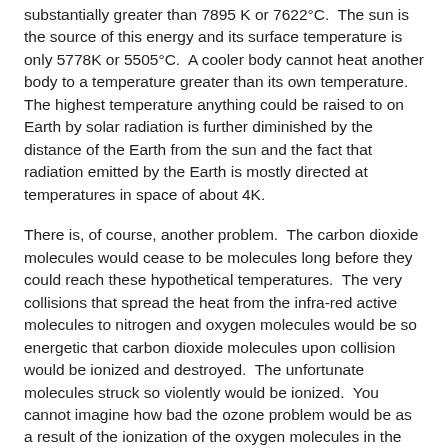substantially greater than 7895 K or 7622°C. The sun is the source of this energy and its surface temperature is only 5778K or 5505°C. A cooler body cannot heat another body to a temperature greater than its own temperature. The highest temperature anything could be raised to on Earth by solar radiation is further diminished by the distance of the Earth from the sun and the fact that radiation emitted by the Earth is mostly directed at temperatures in space of about 4K.
There is, of course, another problem. The carbon dioxide molecules would cease to be molecules long before they could reach these hypothetical temperatures. The very collisions that spread the heat from the infra-red active molecules to nitrogen and oxygen molecules would be so energetic that carbon dioxide molecules upon collision would be ionized and destroyed. The unfortunate molecules struck so violently would be ionized. You cannot imagine how bad the ozone problem would be as a result of the ionization of the oxygen molecules in the air!
If the claimed CO₂ heating effect were even a small fraction